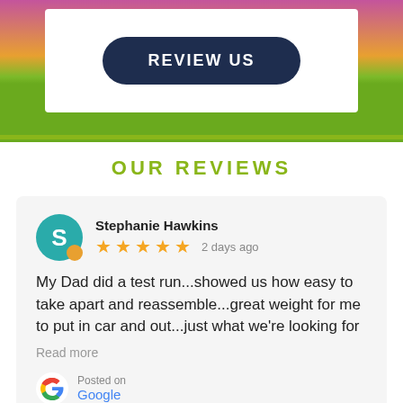[Figure (photo): Top banner with colorful flowers background (pink, orange) and a white box containing a dark navy 'REVIEW US' button with rounded corners]
OUR REVIEWS
Stephanie Hawkins
★★★★★ 2 days ago
My Dad did a test run...showed us how easy to take apart and reassemble...great weight for me to put in car and out...just what we're looking for
Read more
Posted on
Google